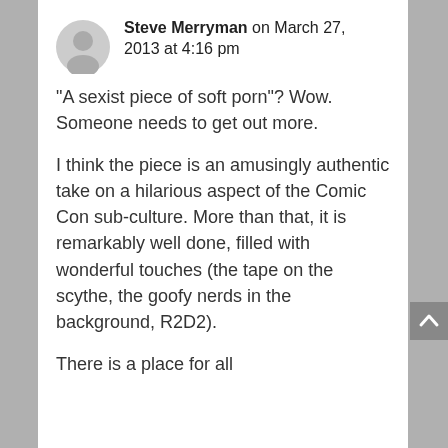[Figure (illustration): Generic user avatar icon, gray circle with silhouette]
Steve Merryman on March 27, 2013 at 4:16 pm
“A sexist piece of soft porn”? Wow. Someone needs to get out more.
I think the piece is an amusingly authentic take on a hilarious aspect of the Comic Con sub-culture. More than that, it is remarkably well done, filled with wonderful touches (the tape on the scythe, the goofy nerds in the background, R2D2).
There is a place for all